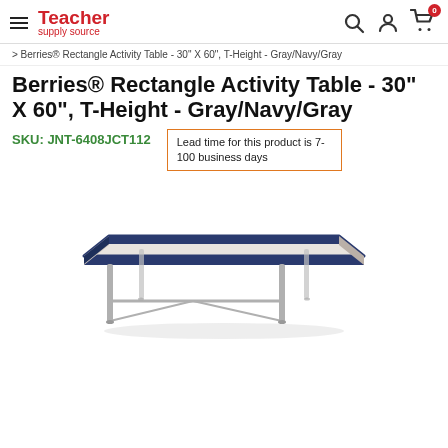Teacher supply source
> Berries® Rectangle Activity Table - 30" X 60", T-Height - Gray/Navy/Gray
Berries® Rectangle Activity Table - 30" X 60", T-Height - Gray/Navy/Gray
SKU: JNT-6408JCT112
Lead time for this product is 7-100 business days
[Figure (photo): Berries rectangle activity table with gray top, navy edge banding, and gray adjustable legs, viewed from a slightly elevated front angle.]